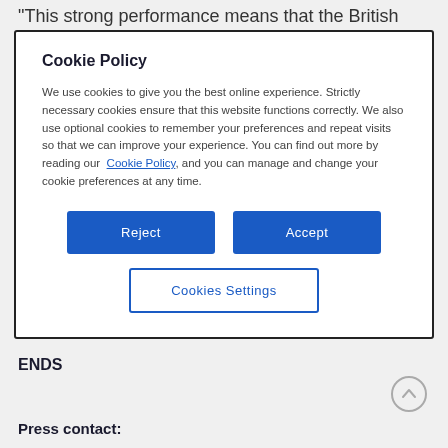“This strong performance means that the British Business Banking has to...
Cookie Policy
We use cookies to give you the best online experience. Strictly necessary cookies ensure that this website functions correctly. We also use optional cookies to remember your preferences and repeat visits so that we can improve your experience. You can find out more by reading our Cookie Policy, and you can manage and change your cookie preferences at any time.
Reject
Accept
Cookies Settings
ENDS
Press contact: